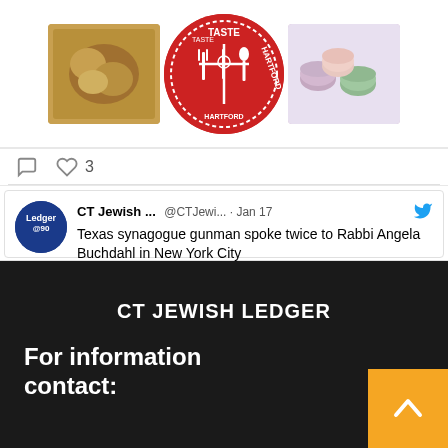[Figure (screenshot): Twitter/social media post showing food images (fried chicken, Taste of Hartford circular logo in red, macarons) with like/comment icons showing 3 likes]
[Figure (screenshot): Tweet from CT Jewish Ledger @CTJewi... Jan 17 with Twitter bird icon. Text: Texas synagogue gunman spoke twice to Rabbi Angela Buchdahl in New York City]
CT JEWISH LEDGER
For information contact: